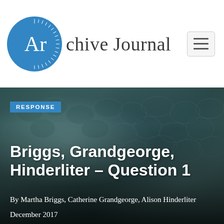Archive Journal
[Figure (photo): Close-up of a dark teal/blue textured surface resembling fish scales or feathers, serving as a hero background image]
RESPONSE
Briggs, Grandgeorge, Hinderliter – Question 1
By Martha Briggs, Catherine Grandgeorge, Alison Hinderliter
December 2017